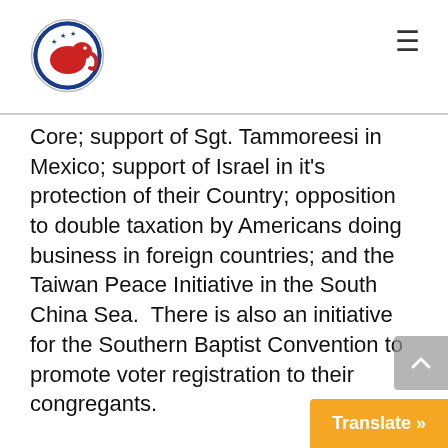Republican National Committee
Core; support of Sgt. Tammoreesi in Mexico; support of Israel in it’s protection of their Country; opposition to double taxation by Americans doing business in foreign countries; and the Taiwan Peace Initiative in the South China Sea.  There is also an initiative for the Southern Baptist Convention to promote voter registration to their congregants.
He also explained an area that some folks are concerned about regarding a Primary race in another State.  The RNC had a closed Executive Meeting where they heard both sides of the issue and determine